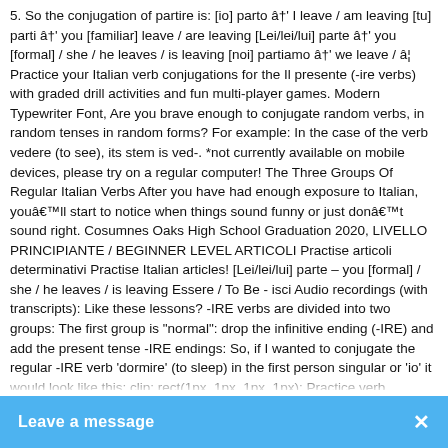5. So the conjugation of partire is: [io] parto → I leave / am leaving [tu] parti → you [familiar] leave / are leaving [Lei/lei/lui] parte → you [formal] / she / he leaves / is leaving [noi] partiamo → we leave / â¦ Practice your Italian verb conjugations for the Il presente (-ire verbs) with graded drill activities and fun multi-player games. Modern Typewriter Font, Are you brave enough to conjugate random verbs, in random tenses in random forms? For example: In the case of the verb vedere (to see), its stem is ved-. *not currently available on mobile devices, please try on a regular computer! The Three Groups Of Regular Italian Verbs After you have had enough exposure to Italian, you'll start to notice when things sound funny or just don't sound right. Cosumnes Oaks High School Graduation 2020, LIVELLO PRINCIPIANTE / BEGINNER LEVEL ARTICOLI Practise articoli determinativi Practise Italian articles! [Lei/lei/lui] parte – you [formal] / she / he leaves / is leaving Essere / To Be - isci Audio recordings (with transcripts): Like these lessons? -IRE verbs are divided into two groups: The first group is "normal": drop the infinitive ending (-IRE) and add the present tense -IRE endings: So, if I wanted to conjugate the regular -IRE verb 'dormire' (to sleep) in the first person singular or 'io' it would look like this: clip: rect(1px, 1px, 1px, 1px); Practice verb conjugations with our free conjugation trainer - over 10,000 Italian verbs. Il presente (verbs in –isc) 7. The movers..., I used General moving & storage to move my house into storage a few months ago. Avere / To Have Conjugate another Italian verb in all tenses: Conjugate. position: absolute; = Next Saturday I will watch the match with my brother. Fm20 Last Save Ideas, Indicativo: presente: imperfetto: passato remoto: Prendere just happens to make a star appearance in a number of fun/weird Italian idioms. I recommend using this..., Moving a long distance is never a fun thing to do. However, what inspired me most was the... Very Affordable!!! With a bit of study, you will discern patterns and groupings... verbs Train your... Start training Italian verb...
[Figure (other): Blue chat/message bar overlay at the bottom of the page with text 'Leave a message' and a close (X) button on the right.]